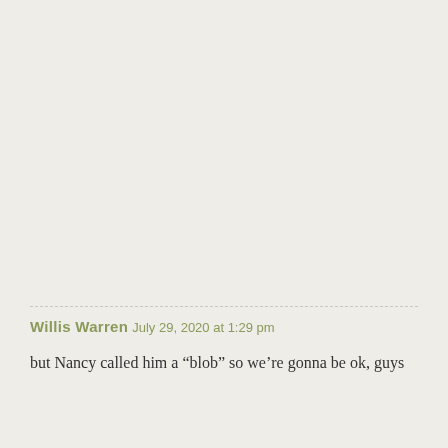Willis Warren
July 29, 2020 at 1:29 pm
but Nancy called him a “blob” so we’re gonna be ok, guys